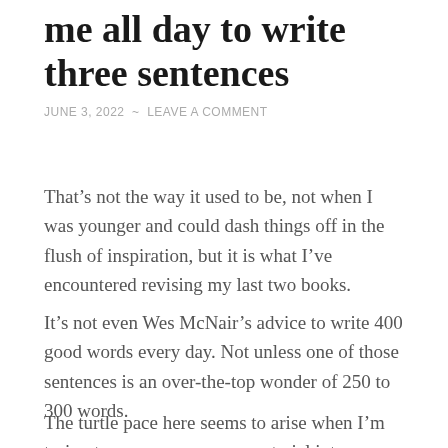me all day to write three sentences
JUNE 3, 2022  ~  LEAVE A COMMENT
That’s not the way it used to be, not when I was younger and could dash things off in the flush of inspiration, but it is what I’ve encountered revising my last two books.
It’s not even Wes McNair’s advice to write 400 good words every day. Not unless one of those sentences is an over-the-top wonder of 250 to 300 words.
The turtle pace here seems to arise when I’m trying to weave some new material into an